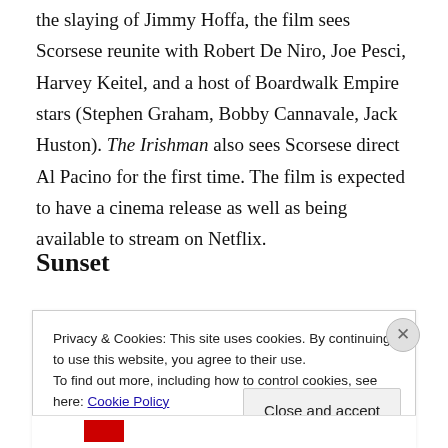the slaying of Jimmy Hoffa, the film sees Scorsese reunite with Robert De Niro, Joe Pesci, Harvey Keitel, and a host of Boardwalk Empire stars (Stephen Graham, Bobby Cannavale, Jack Huston). The Irishman also sees Scorsese direct Al Pacino for the first time. The film is expected to have a cinema release as well as being available to stream on Netflix.
Sunset
Privacy & Cookies: This site uses cookies. By continuing to use this website, you agree to their use.
To find out more, including how to control cookies, see here: Cookie Policy